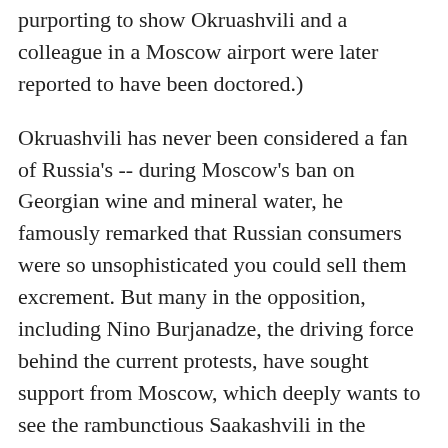purporting to show Okruashvili and a colleague in a Moscow airport were later reported to have been doctored.)
Okruashvili has never been considered a fan of Russia's -- during Moscow's ban on Georgian wine and mineral water, he famously remarked that Russian consumers were so unsophisticated you could sell them excrement. But many in the opposition, including Nino Burjanadze, the driving force behind the current protests, have sought support from Moscow, which deeply wants to see the rambunctious Saakashvili in the unemployment line.
Is Okruashvili, biding his time in France, planning his next ultimatum?